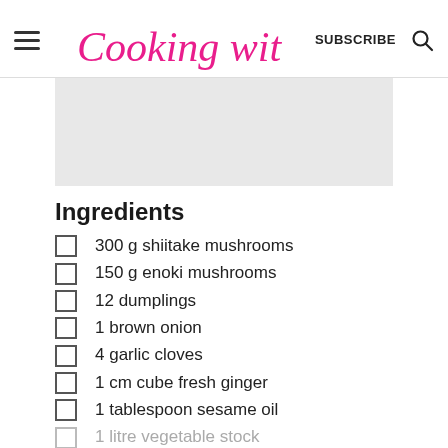Cooking with Ayeh | SUBSCRIBE
Ingredients
300 g shiitake mushrooms
150 g enoki mushrooms
12 dumplings
1 brown onion
4 garlic cloves
1 cm cube fresh ginger
1 tablespoon sesame oil
1 litre vegetable stock
2 tablespoon soy sauce